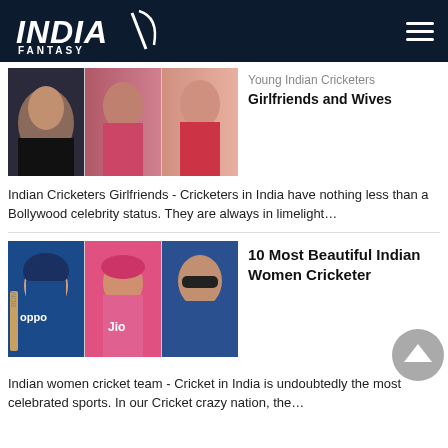INDIA FANTASY
[Figure (photo): Collage of young Indian cricketers with their girlfriends/wives - three photos side by side showing couples]
Young Indian Cricketers Girlfriends and Wives
Indian Cricketers Girlfriends - Cricketers in India have nothing less than a Bollywood celebrity status. They are always in limelight…
[Figure (photo): Collage of three Indian women cricketers - one in blue Oppo jersey with helmet and bat, one in pink Jio outfit, one in blue sunglasses]
10 Most Beautiful Indian Women Cricketer
Indian women cricket team - Cricket in India is undoubtedly the most celebrated sports. In our Cricket crazy nation, the…